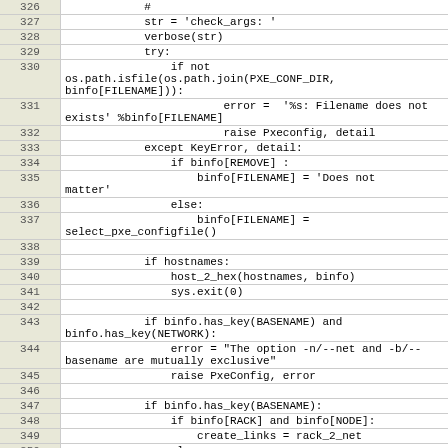| line | code |
| --- | --- |
| 326 |             # |
| 327 |             str = 'check_args: ' |
| 328 |             verbose(str) |
| 329 |             try: |
| 330 |                 if not
os.path.isfile(os.path.join(PXE_CONF_DIR,
binfo[FILENAME])): |
| 331 |                         error =  '%s: Filename does not
exists' %binfo[FILENAME] |
| 332 |                         raise Pxeconfig, detail |
| 333 |             except KeyError, detail: |
| 334 |                 if binfo[REMOVE] : |
| 335 |                     binfo[FILENAME] = 'Does not
matter' |
| 336 |                 else: |
| 337 |                     binfo[FILENAME] =
select_pxe_configfile() |
| 338 |  |
| 339 |             if hostnames: |
| 340 |                 host_2_hex(hostnames, binfo) |
| 341 |                 sys.exit(0) |
| 342 |  |
| 343 |             if binfo.has_key(BASENAME) and
binfo.has_key(NETWORK): |
| 344 |                 error = "The option -n/--net and -b/--
basename are mutually exclusive" |
| 345 |                 raise PxeConfig, error |
| 346 |  |
| 347 |             if binfo.has_key(BASENAME): |
| 348 |                 if binfo[RACK] and binfo[NODE]: |
| 349 |                     create_links = rack_2_net |
| 350 |                 else: |
| 351 |                     set_padding(binfo) |